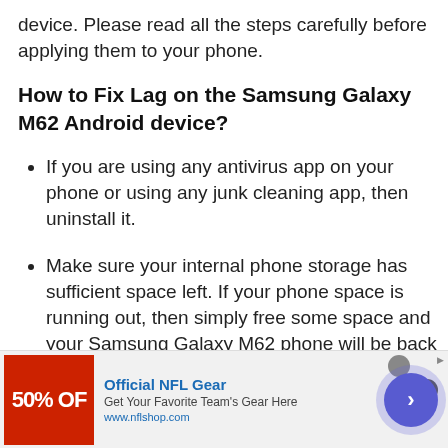device. Please read all the steps carefully before applying them to your phone.
How to Fix Lag on the Samsung Galaxy M62 Android device?
If you are using any antivirus app on your phone or using any junk cleaning app, then uninstall it.
Make sure your internal phone storage has sufficient space left. If your phone space is running out, then simply free some space and your Samsung Galaxy M62 phone will be back to normal.
[Figure (infographic): Advertisement banner for Official NFL Gear showing 50% OFF red image on left, text 'Official NFL Gear / Get Your Favorite Team's Gear Here / www.nflshop.com' in middle, and a blue circular arrow button on right. Has a close button (x) in top right area.]